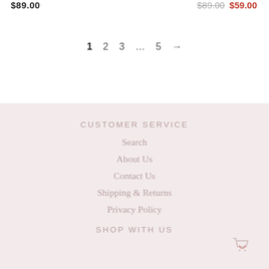$89.00
$89.00  $59.00
1  2  3  …  5  →
CUSTOMER SERVICE
Search
About Us
Contact Us
Shipping & Returns
Privacy Policy
SHOP WITH US